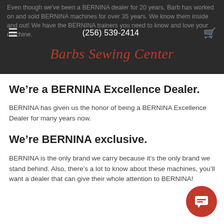Even though we've been a BERNINA dealer for 20 years, Barb has worked on and sold BERNINA machines for over 35 years. We know them inside and out! We have the BERNINA trainers you need to know and love your machine.
Barbs Sewing Center
We're a BERNINA Excellence Dealer.
BERNINA has given us the honor of being a BERNINA Excellence Dealer for many years now.
We're BERNINA exclusive.
BERNINA is the only brand we carry because it's the only brand we stand behind. Also, there's a lot to know about these machines, you'll want a dealer that can give their whole attention to BERNINA!